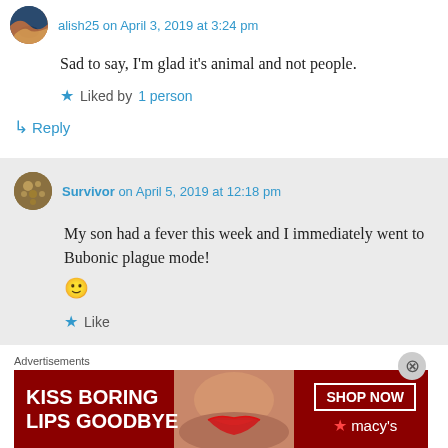alish25 on April 3, 2019 at 3:24 pm
Sad to say, I'm glad it's animal and not people.
Liked by 1 person
↳ Reply
Survivor on April 5, 2019 at 12:18 pm
My son had a fever this week and I immediately went to Bubonic plague mode! 🙂
Like
Advertisements
[Figure (photo): Macy's advertisement banner: KISS BORING LIPS GOODBYE with SHOP NOW button and Macy's star logo, featuring a woman's face with red lipstick on dark red background]